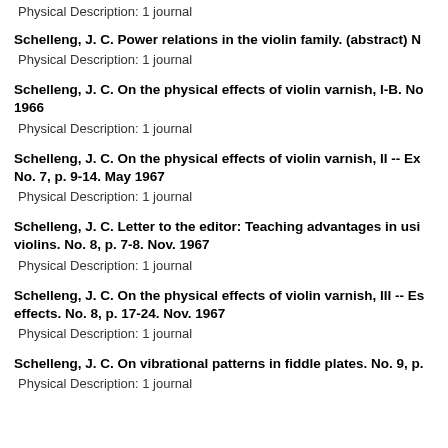Physical Description: 1 journal
Schelleng, J. C. Power relations in the violin family. (abstract) N
Physical Description: 1 journal
Schelleng, J. C. On the physical effects of violin varnish, I-B. No... 1966
Physical Description: 1 journal
Schelleng, J. C. On the physical effects of violin varnish, II -- Ex... No. 7, p. 9-14. May 1967
Physical Description: 1 journal
Schelleng, J. C. Letter to the editor: Teaching advantages in usi... violins. No. 8, p. 7-8. Nov. 1967
Physical Description: 1 journal
Schelleng, J. C. On the physical effects of violin varnish, III -- Es... effects. No. 8, p. 17-24. Nov. 1967
Physical Description: 1 journal
Schelleng, J. C. On vibrational patterns in fiddle plates. No. 9, p.
Physical Description: 1 journal